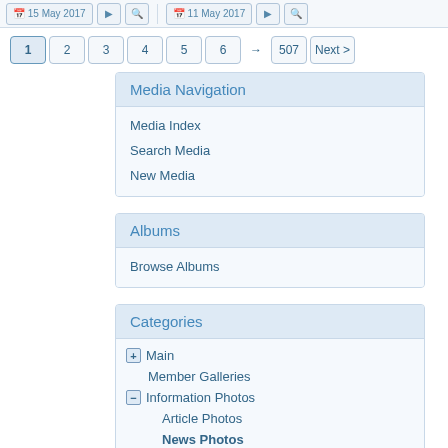[Figure (screenshot): Top toolbar with date buttons (15 May 2017, 11 May 2017) and icon buttons]
Pagination: 1 2 3 4 5 6 → 507 Next >
Media Navigation
Media Index
Search Media
New Media
Albums
Browse Albums
Categories
⊞ Main
Member Galleries
⊟ Information Photos
Article Photos
News Photos
⊞ Review Photos
⊞ Automobile Spec Photos